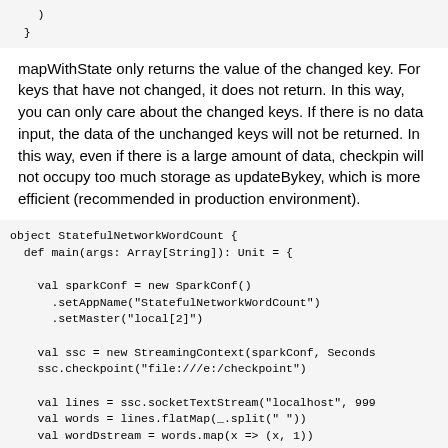)
  }
mapWithState only returns the value of the changed key. For keys that have not changed, it does not return. In this way, you can only care about the changed keys. If there is no data input, the data of the unchanged keys will not be returned. In this way, even if there is a large amount of data, checkpin will not occupy too much storage as updateBykey, which is more efficient (recommended in production environment).
object StatefulNetworkWordCount {
  def main(args: Array[String]): Unit = {

    val sparkConf = new SparkConf()
      .setAppName("StatefulNetworkWordCount")
      .setMaster("local[2]")

    val ssc = new StreamingContext(sparkConf, Seconds
    ssc.checkpoint("file:///e:/checkpoint")

    val lines = ssc.socketTextStream("localhost", 999
    val words = lines.flatMap(_.split(" "))
    val wordDstream = words.map(x => (x, 1))
    /**
      * word: Current key value
      * one: Value value corresponding to current key